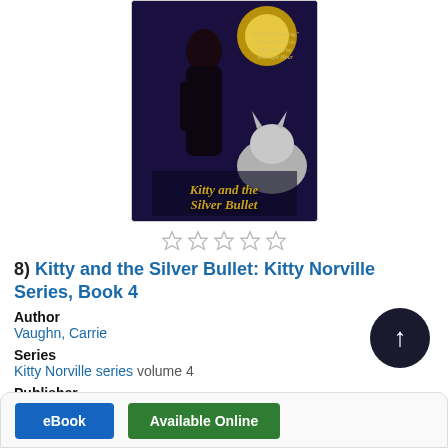[Figure (illustration): Book cover for 'Kitty and the Silver Bullet' showing a dark-skinned woman in a black dress against a moonlit background with a wolf, golden title text]
[Figure (other): Five empty star rating icons in a row]
8) Kitty and the Silver Bullet: Kitty Norville Series, Book 4
Author
Vaughn, Carrie
Series
Kitty Norville series volume 4
Publisher
Grand Central Publishing
Language
English
eBook   Available Online